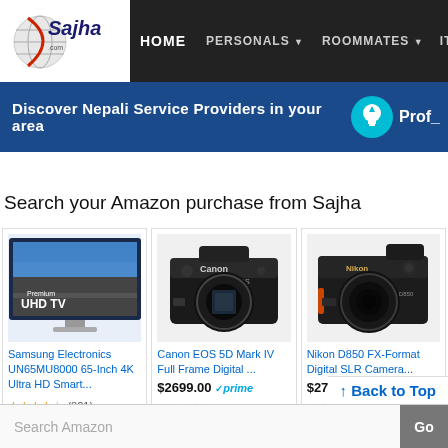[Figure (screenshot): Sajha website navigation bar with logo, Home, Personals, Roommates, IT Jobs menu items]
[Figure (infographic): Blue banner: Discover Nepali Service Providers in your area, with lightbulb icon and Prof_ text]
Search your Amazon purchase from Sajha
[Figure (photo): Samsung Electronics UN65MU8000 65-Inch 4K Ultra HD Smart TV product image showing Premium UHD TV]
Samsung Electronics UN65MU8000 65-Inch 4K Ultra HD Smart...
[Figure (photo): Canon EOS 5D Mark IV Full Frame Digital camera body]
Canon EOS 5D Mark IV Full Frame Digital ...
$2699.00 prime
★★★★★ (838)
[Figure (photo): Nikon D850 FX-Format Digital SLR Camera body]
Nikon D850 FX-Format Digital SLR Camera...
$2796.95 prime
★★★★★ (635)
↑ Back to Top
Search Amazon